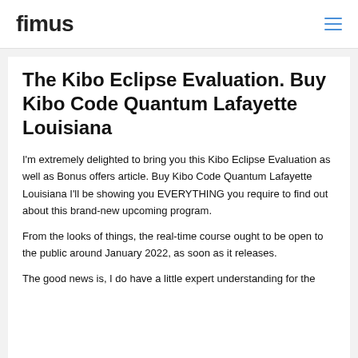fimus
The Kibo Eclipse Evaluation. Buy Kibo Code Quantum Lafayette Louisiana
I'm extremely delighted to bring you this Kibo Eclipse Evaluation as well as Bonus offers article. Buy Kibo Code Quantum Lafayette Louisiana I'll be showing you EVERYTHING you require to find out about this brand-new upcoming program.
From the looks of things, the real-time course ought to be open to the public around January 2022, as soon as it releases.
The good news is, I do have a little expert understanding for the